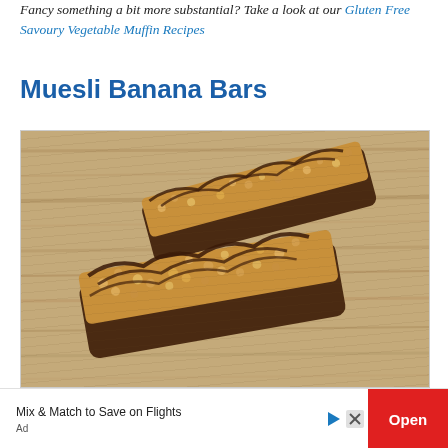Fancy something a bit more substantial? Take a look at our Gluten Free Savoury Vegetable Muffin Recipes
Muesli Banana Bars
[Figure (photo): Two muesli banana bars coated in dark chocolate with oat/nut topping, placed on a wooden surface. The bars are drizzled with chocolate stripes on top.]
Mix & Match to Save on Flights
Ad